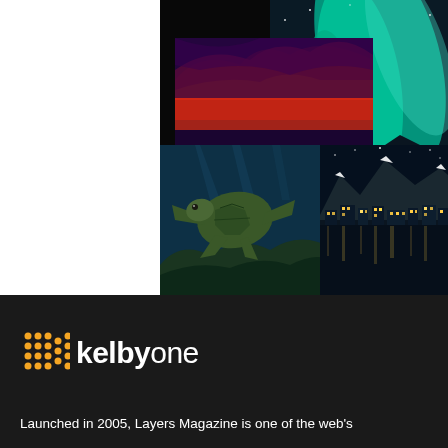[Figure (illustration): Photo collage showing four nature photographs: dramatic red/orange sunset sky, green aurora borealis, sea turtle swimming underwater over coral reef, rocky seascape with long exposure water, and a Norwegian mountain town at night reflected in water. Photos are arranged in an overlapping grid over a black background block.]
[Figure (logo): KelbyOne logo: orange dot grid pattern on the left, followed by the text 'kelbyone' in white on dark background]
Launched in 2005, Layers Magazine is one of the web's